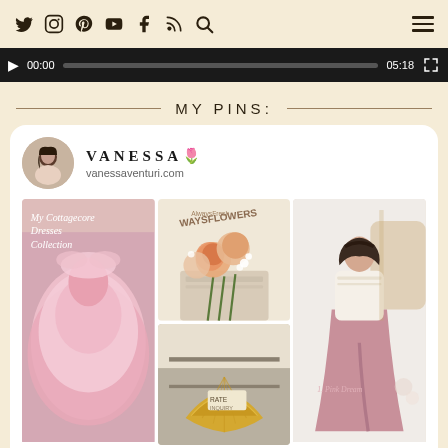Social media icons: Twitter, Instagram, Pinterest, YouTube, Facebook, RSS, Search | Hamburger menu
[Figure (screenshot): Video player bar showing 00:00 current time and 05:18 total duration with progress bar]
MY PINS:
[Figure (screenshot): Pinterest board embed for VANESSA with profile avatar and grid of pins: My Cottagecore Dresses Collection (pink tulle dress), WAYSFLOWERS bouquet, Pink Dream outfit, shell/clam image, and partial images at bottom]
VANESSA🌷
vanessaventuri.com